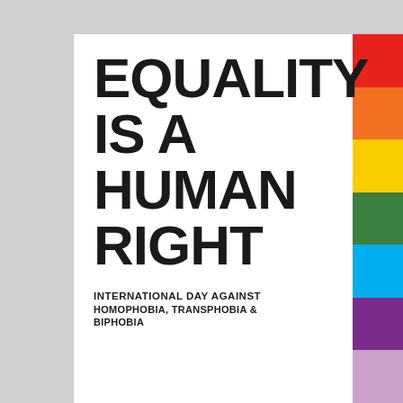EQUALITY IS A HUMAN RIGHT
INTERNATIONAL DAY AGAINST HOMOPHOBIA, TRANSPHOBIA & BIPHOBIA
[Figure (illustration): Rainbow pride flag stripe decoration along the right side of the page: red, orange, yellow, green, blue, purple (and light purple/lavender) vertical stripes]